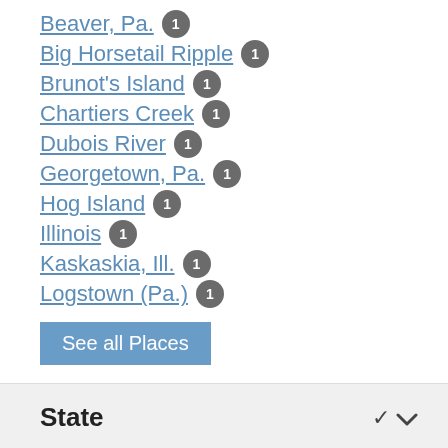Beaver, Pa. 1
Big Horsetail Ripple 1
Brunot's Island 1
Chartiers Creek 1
Dubois River 1
Georgetown, Pa. 1
Hog Island 1
Illinois 1
Kaskaskia, Ill. 1
Logstown (Pa.) 1
See all Places
State
PA 4 ×